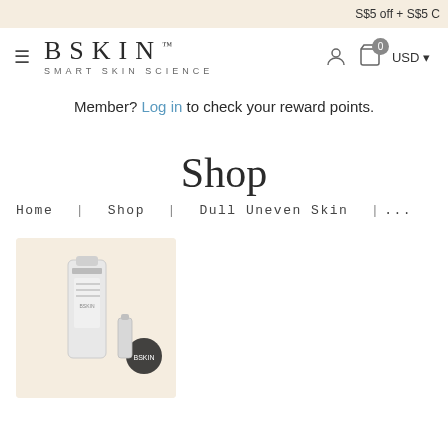S$5 off + S$5 C
[Figure (logo): BSKIN Smart Skin Science logo with hamburger menu icon]
Member? Log in to check your reward points.
Shop
Home | Shop | Dull Uneven Skin |...
[Figure (photo): BSKIN skincare product bottle with secondary smaller item against cream background]